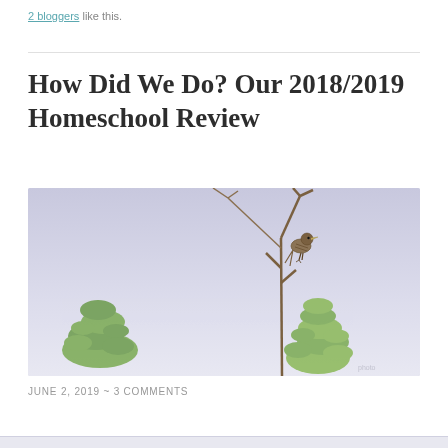2 bloggers like this.
How Did We Do? Our 2018/2019 Homeschool Review
[Figure (photo): A small streaked sparrow bird perched at the top of a branch or twig, with young green conifer trees in the foreground and a pale blue-grey sky background.]
JUNE 2, 2019 ~ 3 COMMENTS